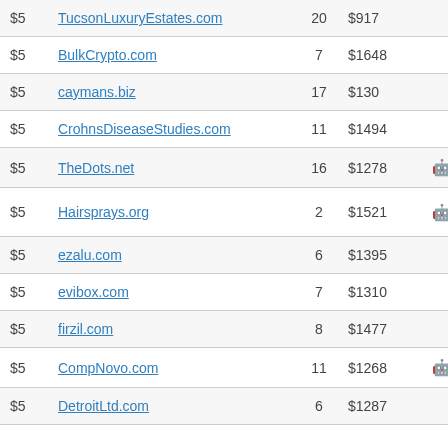| Price | Domain | Bids | Value | Icon | Note |
| --- | --- | --- | --- | --- | --- |
| $5 | TucsonLuxuryEstates.com | 20 | $917 |  | Re… |
| $5 | BulkCrypto.com | 7 | $1648 |  | Cry… |
| $5 | caymans.biz | 17 | $130 |  | Geo… |
| $5 | CrohnsDiseaseStudies.com | 11 | $1494 |  |  |
| $5 | TheDots.net | 16 | $1278 | 🤖 |  |
| $5 | Hairsprays.org | 2 | $1521 | 🤖 | Dic… Wo… |
| $5 | ezalu.com | 6 | $1395 |  | Sh… |
| $5 | evibox.com | 7 | $1310 |  |  |
| $5 | firzil.com | 8 | $1477 |  |  |
| $5 | CompNovo.com | 11 | $1268 | 🤖 |  |
| $5 | DetroitLtd.com | 6 | $1287 |  | Geo… |